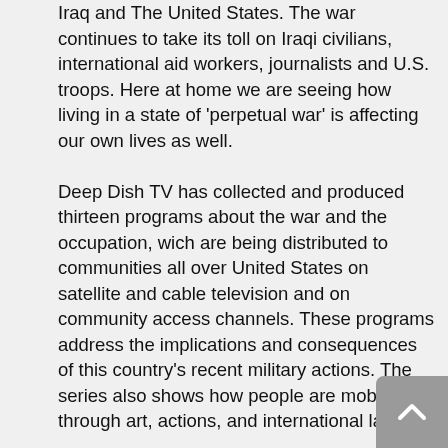Iraq and The United States. The war continues to take its toll on Iraqi civilians, international aid workers, journalists and U.S. troops. Here at home we are seeing how living in a state of 'perpetual war' is affecting our own lives as well.
Deep Dish TV has collected and produced thirteen programs about the war and the occupation, wich are being distributed to communities all over United States on satellite and cable television and on community access channels. These programs address the implications and consequences of this country's recent military actions. The series also shows how people are mobilizing through art, actions, and international law.
These programs are produced by independent video activists who do not buy it into the lies, who are not cowed by the threasts , who believe that building a just world is the way to combat terror. They are speaking out and organizing to counter the waves of propraganda and deceit that continue to dominate the corporate airwaves.
Series Editors: Larilyn Sanchez, Molly Fink, Veronica Davidov,